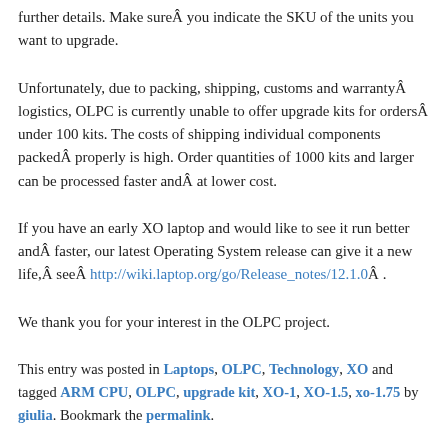further details. Make sureÂ you indicate the SKU of the units you want to upgrade.
Unfortunately, due to packing, shipping, customs and warrantyÂ logistics, OLPC is currently unable to offer upgrade kits for ordersÂ under 100 kits. The costs of shipping individual components packedÂ properly is high. Order quantities of 1000 kits and larger can be processed faster andÂ at lower cost.
If you have an early XO laptop and would like to see it run better andÂ faster, our latest Operating System release can give it a new life,Â seeÂ http://wiki.laptop.org/go/Release_notes/12.1.0Â .
We thank you for your interest in the OLPC project.
This entry was posted in Laptops, OLPC, Technology, XO and tagged ARM CPU, OLPC, upgrade kit, XO-1, XO-1.5, xo-1.75 by giulia. Bookmark the permalink.
17 THOUGHTS ON "ARE YOU WORKING WITH XO LAPTOPS THAT